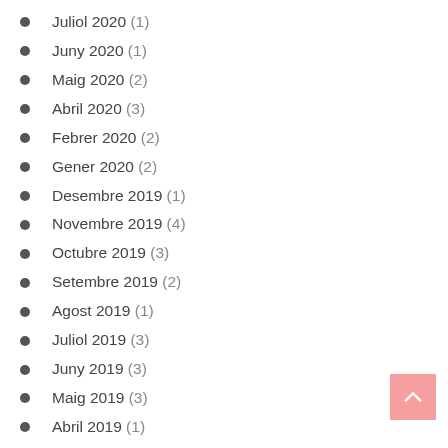Juliol 2020 (1)
Juny 2020 (1)
Maig 2020 (2)
Abril 2020 (3)
Febrer 2020 (2)
Gener 2020 (2)
Desembre 2019 (1)
Novembre 2019 (4)
Octubre 2019 (3)
Setembre 2019 (2)
Agost 2019 (1)
Juliol 2019 (3)
Juny 2019 (3)
Maig 2019 (3)
Abril 2019 (1)